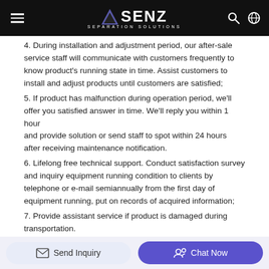SENZ SEPARATION SOLUTIONS
4. During installation and adjustment period, our after-sale service staff will communicate with customers frequently to know product's running state in time. Assist customers to install and adjust products until customers are satisfied;
5. If product has malfunction during operation period, we'll offer you satisfied answer in time. We'll reply you within 1 hour and provide solution or send staff to spot within 24 hours after receiving maintenance notification.
6. Lifelong free technical support. Conduct satisfaction survey and inquiry equipment running condition to clients by telephone or e-mail semiannually from the first day of equipment running, put on records of acquired information;
7. Provide assistant service if product is damaged during transportation.
FAQ
Send Inquiry | Chat Now